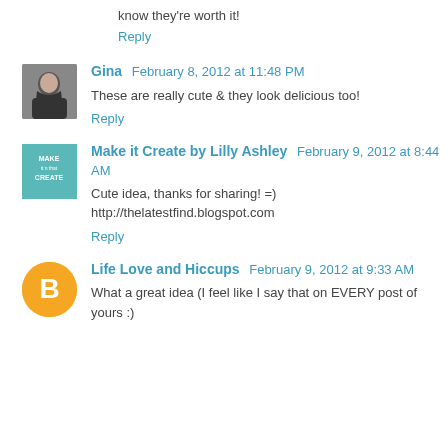know they're worth it!
Reply
Gina  February 8, 2012 at 11:48 PM
These are really cute & they look delicious too!
Reply
Make it Create by Lilly Ashley  February 9, 2012 at 8:44 AM
Cute idea, thanks for sharing! =)
http://thelatestfind.blogspot.com
Reply
Life Love and Hiccups  February 9, 2012 at 9:33 AM
What a great idea (I feel like I say that on EVERY post of yours :)